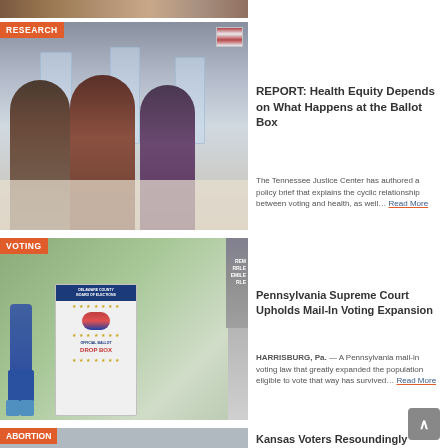[Figure (photo): Top strip showing partial image of voting/election workers]
RESEARCH
[Figure (photo): Three Black women election workers wearing masks and gloves sitting at a table with clear plastic shields]
REPORT: Health Equity Depends on What Happens at the Ballot Box
The Tennessee Justice Center has authored a policy brief that explains the cyclic relationship between voting and health, as well… Read More
VOTING
[Figure (photo): Black man in blue suit depositing ballot at Delaware County Board of Elections Official Ballot Drop Box outdoors]
Pennsylvania Supreme Court Upholds Mail-In Voting Expansion
HARRISBURG, Pa. — A Pennsylvania mail-in voting law that greatly expanded the population eligible to vote that way has survived… Read More
ABORTION
Kansas Voters Resoundingly